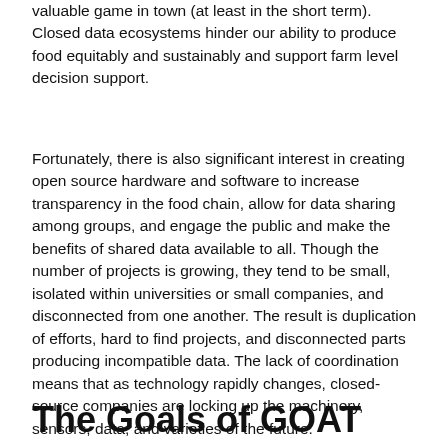valuable game in town (at least in the short term). Closed data ecosystems hinder our ability to produce food equitably and sustainably and support farm level decision support.
Fortunately, there is also significant interest in creating open source hardware and software to increase transparency in the food chain, allow for data sharing among groups, and engage the public and make the benefits of shared data available to all. Though the number of projects is growing, they tend to be small, isolated within universities or small companies, and disconnected from one another. The result is duplication of efforts, hard to find projects, and disconnected parts producing incompatible data. The lack of coordination means that as technology rapidly changes, closed-source companies are locking up the machinery, sensors, data, and varieties of the future.
The Goals of GOAT